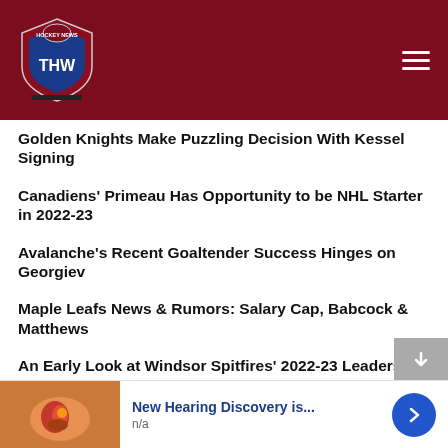THW - The Hockey Writers
Golden Knights Make Puzzling Decision With Kessel Signing
Canadiens' Primeau Has Opportunity to be NHL Starter in 2022-23
Avalanche's Recent Goaltender Success Hinges on Georgiev
Maple Leafs News & Rumors: Salary Cap, Babcock & Matthews
An Early Look at Windsor Spitfires' 2022-23 Leadership
NHL Rumors: Flames, Oilers, Blackhawks, Babcock News
Islanders Farm System is Better Than Grades Indicate
Sharks News & Rumors: Kane, Meier, Gadjovich & More
[Figure (other): Advertisement banner: New Hearing Discovery is... n/a with a forward arrow button]